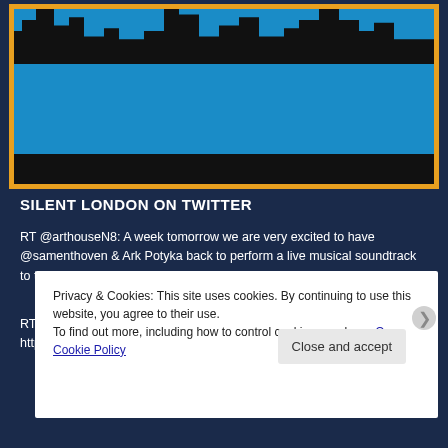[Figure (illustration): Blue and black cityscape/skyline silhouette image with orange border, showing dark building silhouettes against a bright blue background]
SILENT LONDON ON TWITTER
RT @arthouseN8: A week tomorrow we are very excited to have @samenthoven & Ark Potyka back to perform a live musical soundtrack to the sile... 7 hours ago
RT @NeilKBrand: FULL HOUSE!! @silentfilmbonn https://t.co/2yh3ABM0Ob 8 hours ago
Privacy & Cookies: This site uses cookies. By continuing to use this website, you agree to their use.
To find out more, including how to control cookies, see here: Our Cookie Policy
Close and accept